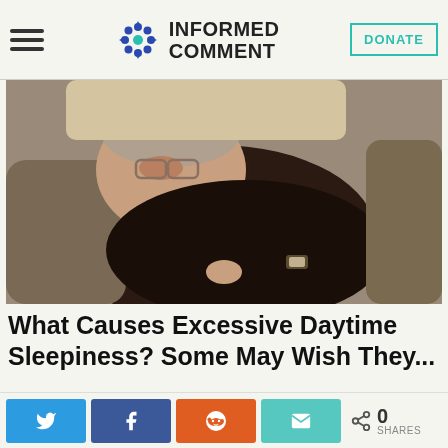Informed Comment | DONATE
[Figure (photo): Elderly man asleep in a chair with arms crossed, wearing a dark sweater and glasses, resting against cushions]
What Causes Excessive Daytime Sleepiness? Some May Wish They...
Narcolepsy | Search Ads | Sponsored
[Figure (photo): Partial view of a second advertisement image showing skin/medical content]
Share buttons: Twitter, Facebook, Reddit, Email | 0 SHARES